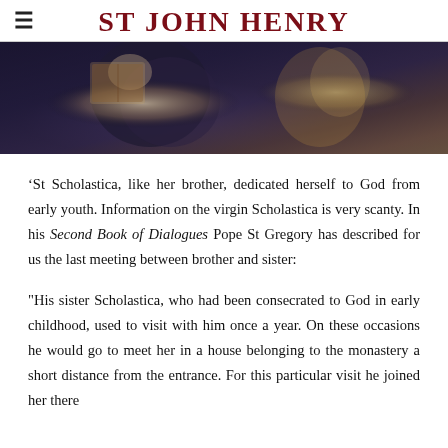ST JOHN HENRY
[Figure (photo): Painting of a religious figure, likely a saint, holding an open book, depicted with flowing dark robes, a white figure visible in the background.]
'St Scholastica, like her brother, dedicated herself to God from early youth. Information on the virgin Scholastica is very scanty. In his Second Book of Dialogues Pope St Gregory has described for us the last meeting between brother and sister:
“His sister Scholastica, who had been consecrated to God in early childhood, used to visit with him once a year. On these occasions he would go to meet her in a house belonging to the monastery a short distance from the entrance. For this particular visit he joined her there